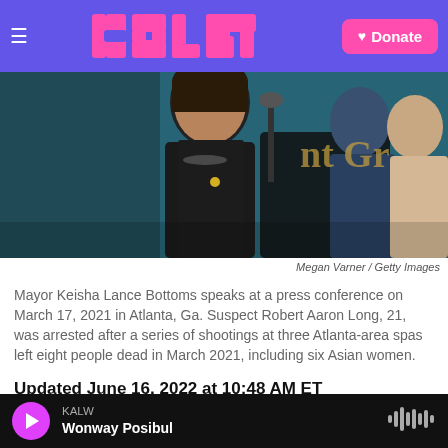KALW — NPR News Website Header with Logo and Donate button
[Figure (photo): Mayor Keisha Lance Bottoms speaking at a microphone at a press conference, with police officers visible in the background. Teal/dark background.]
Megan Varner / Getty Images
Mayor Keisha Lance Bottoms speaks at a press conference on March 17, 2021 in Atlanta, Ga. Suspect Robert Aaron Long, 21, was arrested after a series of shootings at three Atlanta-area spas left eight people dead in March 2021, including six Asian women.
Updated June 16, 2022 at 10:48 AM ET
Former Atlanta Mayor Keisha Lance Bottoms will
KALW — Wonway Posibul (audio player)